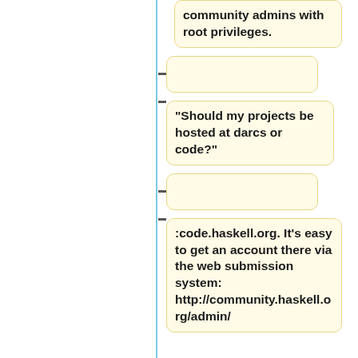community admins with root privileges.
"Should my projects be hosted at darcs or code?"
:code.haskell.org. It's easy to get an account there via the web submission system: http://community.haskell.org/admin/